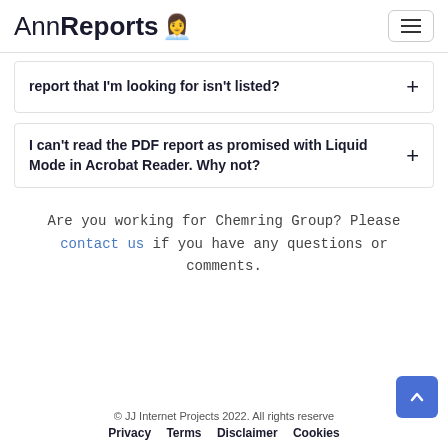AnnReports 👩‍💼
report that I'm looking for isn't listed?
I can't read the PDF report as promised with Liquid Mode in Acrobat Reader. Why not?
Are you working for Chemring Group? Please contact us if you have any questions or comments.
© JJ Internet Projects 2022. All rights reserved. Privacy  Terms  Disclaimer  Cookies